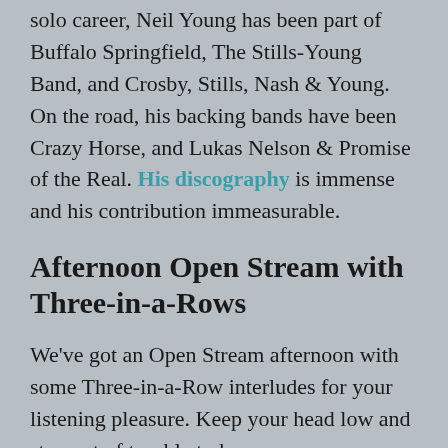solo career, Neil Young has been part of Buffalo Springfield, The Stills-Young Band, and Crosby, Stills, Nash & Young. On the road, his backing bands have been Crazy Horse, and Lukas Nelson & Promise of the Real. His discography is immense and his contribution immeasurable.
Afternoon Open Stream with Three-in-a-Rows
We've got an Open Stream afternoon with some Three-in-a-Row interludes for your listening pleasure. Keep your head low and stay out of trouble today.